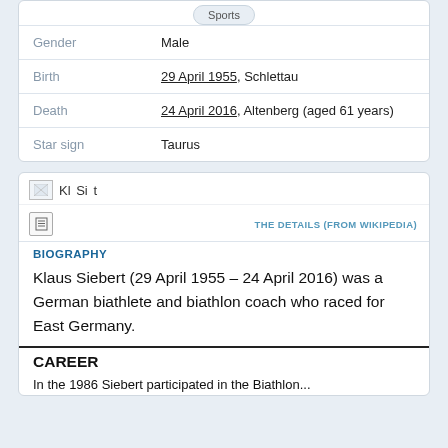| Field | Value |
| --- | --- |
| Gender | Male |
| Birth | 29 April 1955, Schlettau |
| Death | 24 April 2016, Altenberg (aged 61 years) |
| Star sign | Taurus |
[Figure (screenshot): Broken image icon and partial title text 'Klaus Siebert']
THE DETAILS (FROM WIKIPEDIA)
BIOGRAPHY
Klaus Siebert (29 April 1955 – 24 April 2016) was a German biathlete and biathlon coach who raced for East Germany.
CAREER
In the 1986 Siebert participated in the Biathlon...